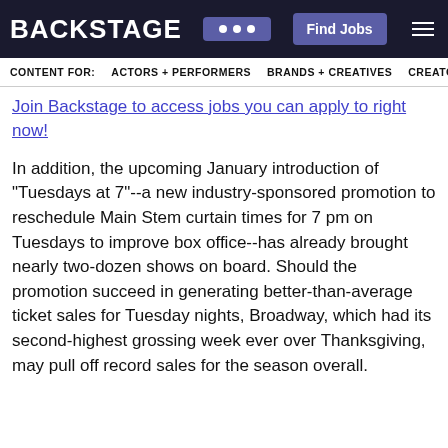BACKSTAGE | Find Jobs
CONTENT FOR: ACTORS + PERFORMERS  BRANDS + CREATIVES  CREATO
Join Backstage to access jobs you can apply to right now!
In addition, the upcoming January introduction of "Tuesdays at 7"--a new industry-sponsored promotion to reschedule Main Stem curtain times for 7 pm on Tuesdays to improve box office--has already brought nearly two-dozen shows on board. Should the promotion succeed in generating better-than-average ticket sales for Tuesday nights, Broadway, which had its second-highest grossing week ever over Thanksgiving, may pull off record sales for the season overall.